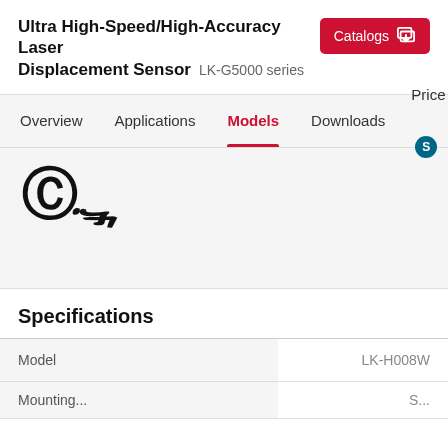Ultra High-Speed/High-Accuracy Laser Displacement Sensor LK-G5000 series
Catalogs
Models
Overview Applications Models Downloads Price
[Figure (logo): CE certification mark]
Specifications
| Model | LK-H008W |
| --- | --- |
| Mounting... | S... |